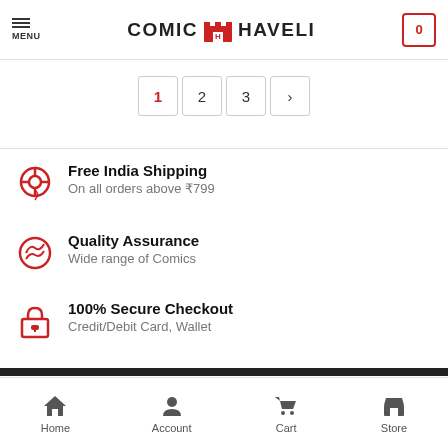MENU | COMIC HAVELI | 0
1 2 3 >
Free India Shipping
On all orders above ₹799
Quality Assurance
Wide range of Comics
100% Secure Checkout
Credit/Debit Card, Wallet
Home | Account | Cart | Store